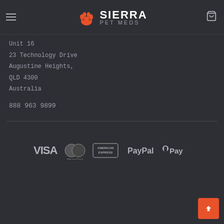Sierra Pet Meds
Unit 16
23 Technology Drive
Augustine Heights,
QLD 4300
Australia
888 963 9899
[Figure (infographic): Payment method logos: Visa, MasterCard, American Express, PayPal, Apple Pay]